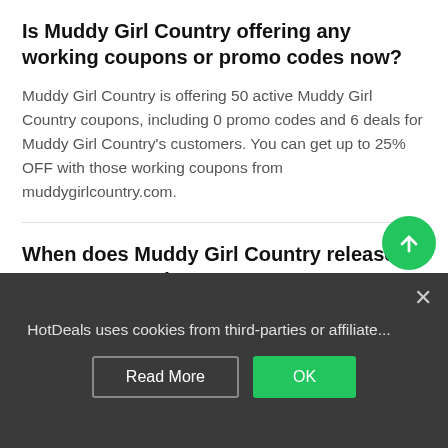Is Muddy Girl Country offering any working coupons or promo codes now?
Muddy Girl Country is offering 50 active Muddy Girl Country coupons, including 0 promo codes and 6 deals for Muddy Girl Country's customers. You can get up to 25% OFF with those working coupons from muddygirlcountry.com.
When does Muddy Girl Country release new promo codes?
On average, Muddy Girl Country offers 1 coupon code per month. The Latest Muddy Girl Country promo code was found on Aug 14, 2022. There are 50 Muddy Girl Country coupons in August 2022 for customers who
HotDeals uses cookies from third-parties or affiliate...
What is today's best Muddy Girl Country